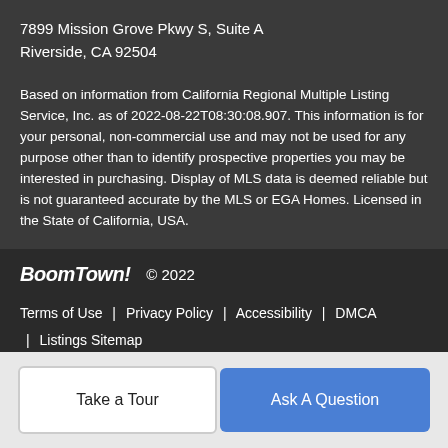7899 Mission Grove Pkwy S, Suite A
Riverside, CA 92504
Based on information from California Regional Multiple Listing Service, Inc. as of 2022-08-22T08:30:08.907. This information is for your personal, non-commercial use and may not be used for any purpose other than to identify prospective properties you may be interested in purchasing. Display of MLS data is deemed reliable but is not guaranteed accurate by the MLS or EGA Homes. Licensed in the State of California, USA.
BoomTown! © 2022
Terms of Use | Privacy Policy | Accessibility | DMCA | Listings Sitemap
Take a Tour
Ask A Question